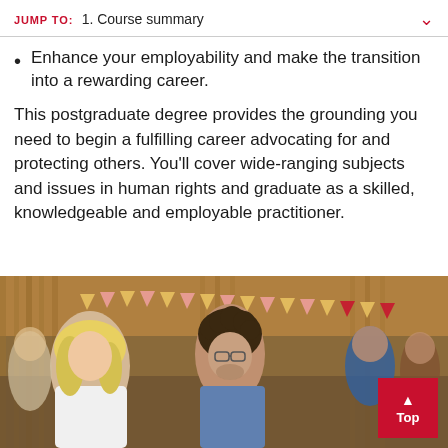JUMP TO: 1. Course summary
Enhance your employability and make the transition into a rewarding career.
This postgraduate degree provides the grounding you need to begin a fulfilling career advocating for and protecting others. You'll cover wide-ranging subjects and issues in human rights and graduate as a skilled, knowledgeable and employable practitioner.
[Figure (photo): Two students, a blonde woman and a young man with curly hair and glasses, talking in an indoor venue with bunting and warm lighting. A 'Top' back-to-top button is overlaid in the bottom right corner.]